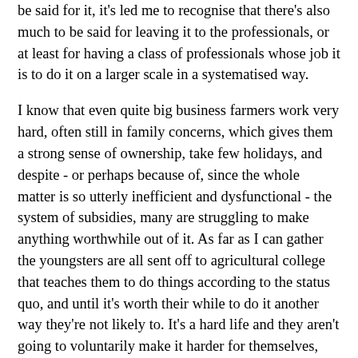be said for it, it's led me to recognise that there's also much to be said for leaving it to the professionals, or at least for having a class of professionals whose job it is to do it on a larger scale in a systematised way.
I know that even quite big business farmers work very hard, often still in family concerns, which gives them a strong sense of ownership, take few holidays, and despite - or perhaps because of, since the whole matter is so utterly inefficient and dysfunctional - the system of subsidies, many are struggling to make anything worthwhile out of it. As far as I can gather the youngsters are all sent off to agricultural college that teaches them to do things according to the status quo, and until it's worth their while to do it another way they're not likely to. It's a hard life and they aren't going to voluntarily make it harder for themselves, not without a change in the incentives and disincentives.
And they aren't the only ones. While the organic/biologique market continues as a sideline, the majority of people are more than happy to pork out on cheap, factory produced pork and similar. Food is cheaper in real terms than it's ever